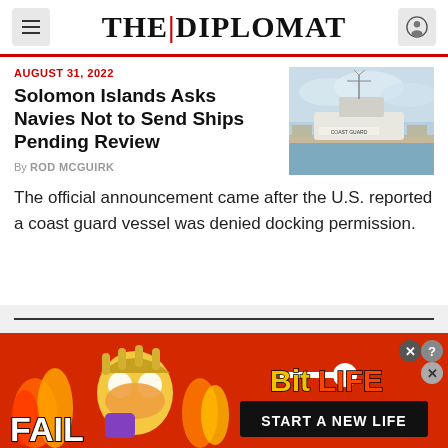THE DIPLOMAT
AUGUST 31, 2022
Solomon Islands Asks Navies Not to Send Ships Pending Review
By ROD MCGUIRK
[Figure (photo): A coast guard vessel docked at a port, with equipment visible on deck and other vessels in the background.]
The official announcement came after the U.S. reported a coast guard vessel was denied docking permission.
[Figure (other): BitLife advertisement banner with 'FAIL' text, cartoon characters, and 'START A NEW LIFE' tagline on a red background.]